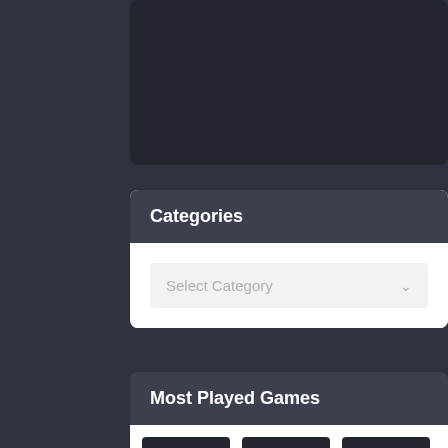[Figure (screenshot): Dark rounded card panel, partially visible at top of page]
Categories
[Figure (screenshot): Dropdown select box with placeholder text 'Select Category' and chevron arrow]
Most Played Games
[Figure (screenshot): Three dark game thumbnail cards partially visible at bottom of page]